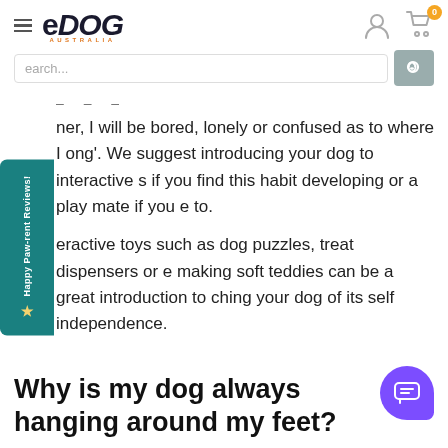eDOG Australia
ner, I will be bored, lonely or confused as to where I ong'. We suggest introducing your dog to interactive s if you find this habit developing or a play mate if you e to.
eractive toys such as dog puzzles, treat dispensers or e making soft teddies can be a great introduction to ching your dog of its self independence.
Why is my dog always hanging around my feet?